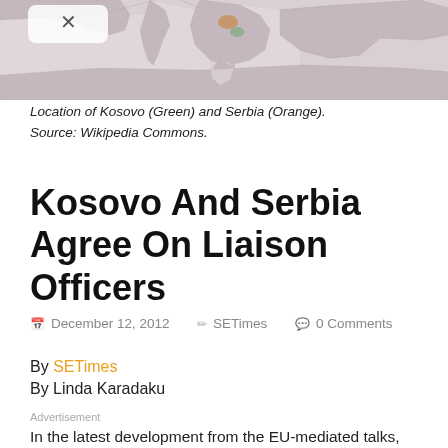[Figure (map): Map showing location of Kosovo (Green) and Serbia (Orange) in Europe/Balkans region. Source: Wikipedia Commons.]
Location of Kosovo (Green) and Serbia (Orange). Source: Wikipedia Commons.
Kosovo And Serbia Agree On Liaison Officers
December 12, 2012   SETimes   0 Comments
By SETimes
By Linda Karadaku
Advertisement
In the latest development from the EU-mediated talks, Serbia Prime Minister Ivica Dacic and Kosovo